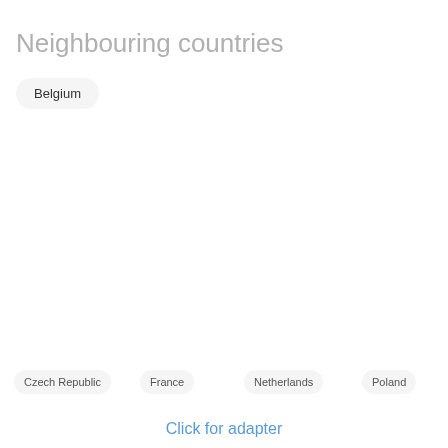Neighbouring countries
Belgium
Czech Republic
France
Netherlands
Poland
Click for adapter